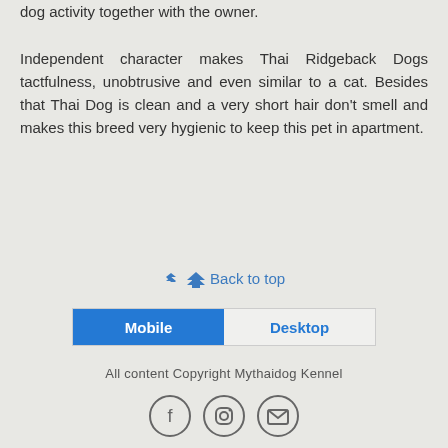dog activity together with the owner. Independent character makes Thai Ridgeback Dogs tactfulness, unobtrusive and even similar to a cat. Besides that Thai Dog is clean and a very short hair don't smell and makes this breed very hygienic to keep this pet in apartment.
⇪ Back to top
Mobile | Desktop
All content Copyright Mythaidog Kennel